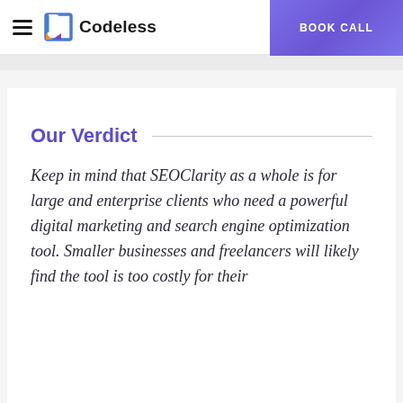Codeless | BOOK CALL
Our Verdict
Keep in mind that SEOClarity as a whole is for large and enterprise clients who need a powerful digital marketing and search engine optimization tool. Smaller businesses and freelancers will likely find the tool is too costly for their